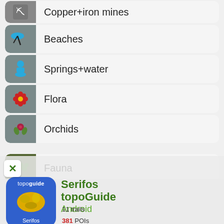Copper+iron mines
Beaches
Springs+water
Flora
Orchids
Fauna
[Figure (screenshot): App popup for Serifos topoGuide Android showing 11 trails, 381 POIs, 40 pages guidebook]
Serifos topoGuide
Android
11 trails
381 POIs
40 pages guidebook